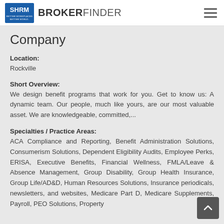SHRM BROKERFINDER
Company
Location:
Rockville
Short Overview:
We design benefit programs that work for you. Get to know us: A dynamic team. Our people, much like yours, are our most valuable asset. We are knowledgeable, committed,...
Specialties / Practice Areas:
ACA Compliance and Reporting, Benefit Administration Solutions, Consumerism Solutions, Dependent Eligibility Audits, Employee Perks, ERISA, Executive Benefits, Financial Wellness, FMLA/Leave & Absence Management, Group Disability, Group Health Insurance, Group Life/AD&D, Human Resources Solutions, Insurance periodicals, newsletters, and websites, Medicare Part D, Medicare Supplements, Payroll, PEO Solutions, Property